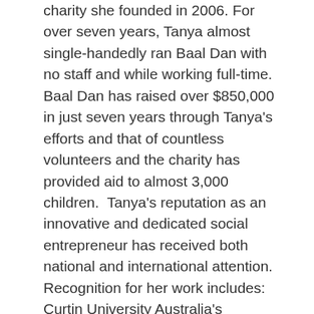charity she founded in 2006. For over seven years, Tanya almost single-handedly ran Baal Dan with no staff and while working full-time. Baal Dan has raised over $850,000 in just seven years through Tanya's efforts and that of countless volunteers and the charity has provided aid to almost 3,000 children. Tanya's reputation as an innovative and dedicated social entrepreneur has received both national and international attention. Recognition for her work includes: Curtin University Australia's prestigious humanitarian leadership award, "The John Curtin Medal" (2011), Harvard University's Women's Empowerment Conference "Women of the Year Award" (2010), and the Sri-Sri Ravi Shankar Award for "Uplifting Human Values" (2007). She has been a featured speaker